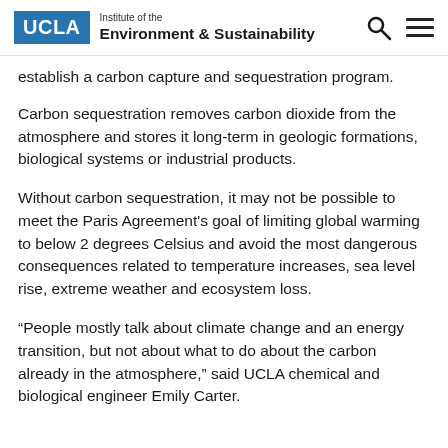UCLA Institute of the Environment & Sustainability
establish a carbon capture and sequestration program.
Carbon sequestration removes carbon dioxide from the atmosphere and stores it long-term in geologic formations, biological systems or industrial products.
Without carbon sequestration, it may not be possible to meet the Paris Agreement’s goal of limiting global warming to below 2 degrees Celsius and avoid the most dangerous consequences related to temperature increases, sea level rise, extreme weather and ecosystem loss.
“People mostly talk about climate change and an energy transition, but not about what to do about the carbon already in the atmosphere,” said UCLA chemical and biological engineer Emily Carter.